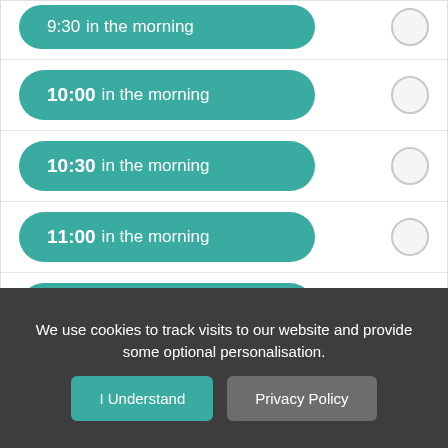9:30 in the morning
10:00 in the morning
10:30 in the morning
11:00 in the morning
11:30 in the morning
We use cookies to track visits to our website and provide some optional personalisation.
I Understand
Privacy Policy